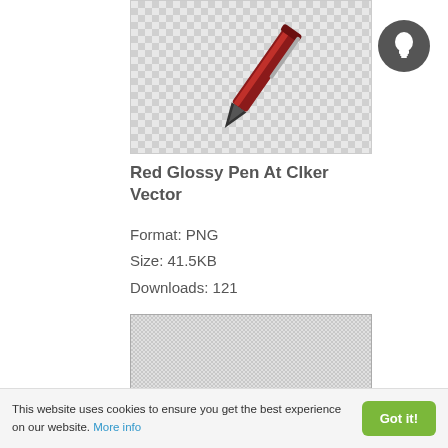[Figure (illustration): Red glossy pen on a checkered transparent background, pen tilted diagonally]
[Figure (illustration): Circular dark icon with a white lightbulb symbol]
Red Glossy Pen At Clker Vector
Format: PNG
Size: 41.5KB
Downloads: 121
[Figure (illustration): Empty area with fine checkered/dotted light gray pattern, placeholder image]
This website uses cookies to ensure you get the best experience on our website. More info